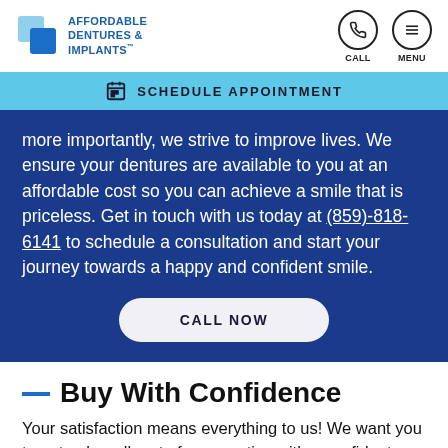Affordable Dentures & Implants — CALL | MENU
SCHEDULE APPOINTMENT
more importantly, we strive to improve lives. We ensure your dentures are available to you at an affordable cost so you can achieve a smile that is priceless. Get in touch with us today at (859)-818-6141 to schedule a consultation and start your journey towards a happy and confident smile.
CALL NOW
Buy With Confidence
Your satisfaction means everything to us! We want you to not only walk out of our practice with a confident, new